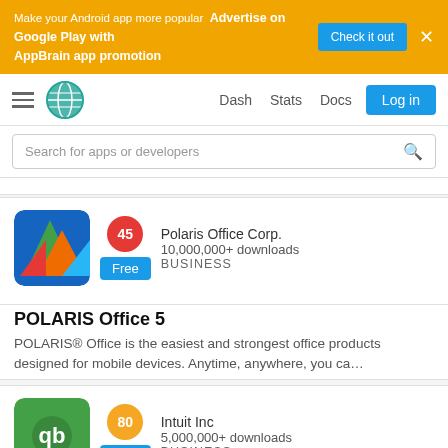[Figure (screenshot): AppBrain advertisement banner with orange background promoting Google Play app promotion]
[Figure (screenshot): Navigation bar with hamburger menu, globe logo, Dash/Stats/Docs links, and Log in button]
[Figure (screenshot): Search bar with placeholder text 'Search for apps or developers']
[Figure (screenshot): Polaris Office 5 app listing card with icon, score 45, Free badge, developer Polaris Office Corp., 10,000,000+ downloads, BUSINESS category]
POLARIS Office 5
POLARIS® Office is the easiest and strongest office products designed for mobile devices. Anytime, anywhere, you ca…
[Figure (screenshot): QuickBooks Online app listing card with green icon, score 80, Free badge, developer Intuit Inc, 5,000,000+ downloads, BUSINESS category]
QuickBooks Online Accounting, Invoicing & Expenses
Log miles, create invoices, maintain finances and cash flow, and track your profit and loss reports. Organize your work…